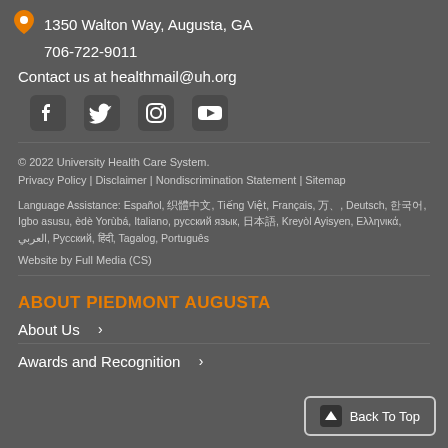1350 Walton Way, Augusta, GA
706-722-9011
Contact us at healthmail@uh.org
[Figure (other): Social media icons: Facebook, Twitter, Instagram, YouTube]
© 2022 University Health Care System.
Privacy Policy | Disclaimer | Nondiscrimination Statement | Sitemap
Language Assistance: Español, 繁體中文, Tiếng Việt, Français, العربية, Deutsch, 한국어, Igbo asusu, èdè Yorùbá, Italiano, русский язык, 日本語, Kreyòl Ayisyen, Ελληνικά, العربي, Русский, हिंदी, Tagalog, Português
Website by Full Media (CS)
ABOUT PIEDMONT AUGUSTA
About Us  ›
Awards and Recognition  ›